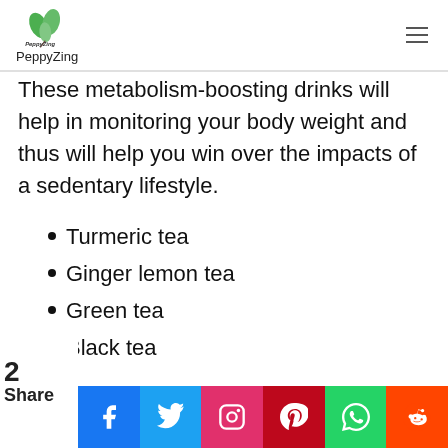PeppyZing
These metabolism-boosting drinks will help in monitoring your body weight and thus will help you win over the impacts of a sedentary lifestyle.
Turmeric tea
Ginger lemon tea
Green tea
Black tea
coffee
2 Share — Facebook, Twitter, Instagram, Pinterest, WhatsApp, Reddit